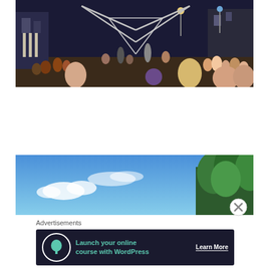[Figure (photo): Nighttime street performance with crowd watching performers using geometric metal frame structure on a city street lit by street lights]
[Figure (photo): Daytime outdoor scene showing blue sky with wispy clouds and green trees on the right side]
Advertisements
[Figure (infographic): Advertisement banner for WordPress online course with dark background, tree icon, teal text 'Launch your online course with WordPress' and 'Learn More' button]